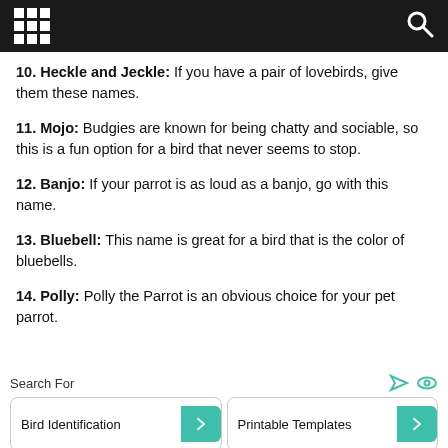10. Heckle and Jeckle: If you have a pair of lovebirds, give them these names.
11. Mojo: Budgies are known for being chatty and sociable, so this is a fun option for a bird that never seems to stop.
12. Banjo: If your parrot is as loud as a banjo, go with this name.
13. Bluebell: This name is great for a bird that is the color of bluebells.
14. Polly: Polly the Parrot is an obvious choice for your pet parrot.
Search For
Bird Identification
Printable Templates
Bird Bath Fountains
Cheap Bird Baths